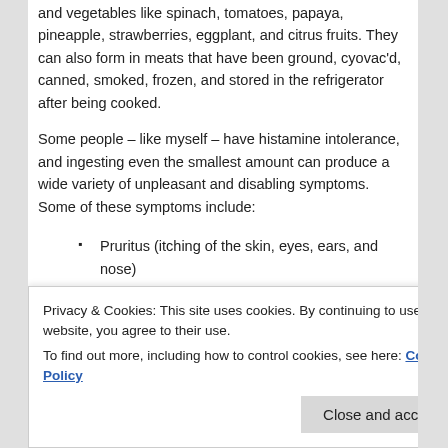and vegetables like spinach, tomatoes, papaya, pineapple, strawberries, eggplant, and citrus fruits. They can also form in meats that have been ground, cyovac'd, canned, smoked, frozen, and stored in the refrigerator after being cooked.
Some people – like myself – have histamine intolerance, and ingesting even the smallest amount can produce a wide variety of unpleasant and disabling symptoms. Some of these symptoms include:
Pruritus (itching of the skin, eyes, ears, and nose)
Urticaria (hives)
Rashes
Acne
Privacy & Cookies: This site uses cookies. By continuing to use this website, you agree to their use.
To find out more, including how to control cookies, see here: Cookie Policy
Panic attack